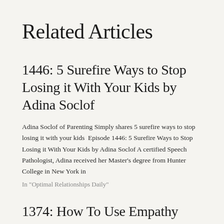Related Articles
1446: 5 Surefire Ways to Stop Losing it With Your Kids by Adina Soclof
Adina Soclof of Parenting Simply shares 5 surefire ways to stop losing it with your kids  Episode 1446: 5 Surefire Ways to Stop Losing it With Your Kids by Adina Soclof A certified Speech Pathologist, Adina received her Master's degree from Hunter College in New York in
In "Optimal Relationships Daily"
1374: How To Use Empathy Even When You Don't Think You Can by Adina Soclof f…